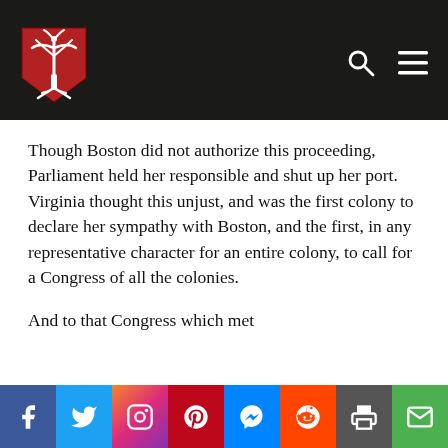[Figure (logo): Red shield logo with white tree/palmetto design on dark navigation bar]
Though Boston did not authorize this proceeding, Parliament held her responsible and shut up her port. Virginia thought this unjust, and was the first colony to declare her sympathy with Boston, and the first, in any representative character for an entire colony, to call for a Congress of all the colonies.
And to that Congress which met
[Figure (infographic): Social media share bar with buttons for Facebook, Twitter, Instagram, Pinterest, Messenger, Reddit, Print, and Email]